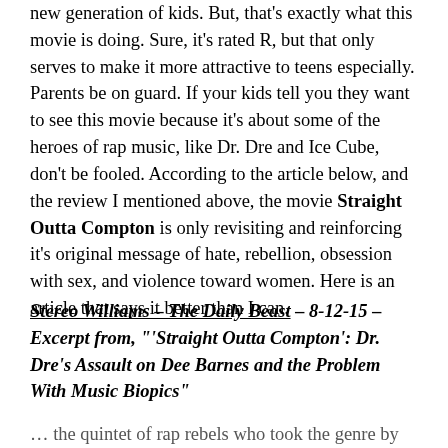new generation of kids. But, that's exactly what this movie is doing. Sure, it's rated R, but that only serves to make it more attractive to teens especially. Parents be on guard. If your kids tell you they want to see this movie because it's about some of the heroes of rap music, like Dr. Dre and Ice Cube, don't be fooled. According to the article below, and the review I mentioned above, the movie Straight Outta Compton is only revisiting and reinforcing it's original message of hate, rebellion, obsession with sex, and violence toward women. Here is an article that says it better than I can.
Stereo Williams – The Daily Beast – 8-12-15 – Excerpt from, "'Straight Outta Compton': Dr. Dre's Assault on Dee Barnes and the Problem With Music Biopics"
… the quintet of rap rebels who took the genre by